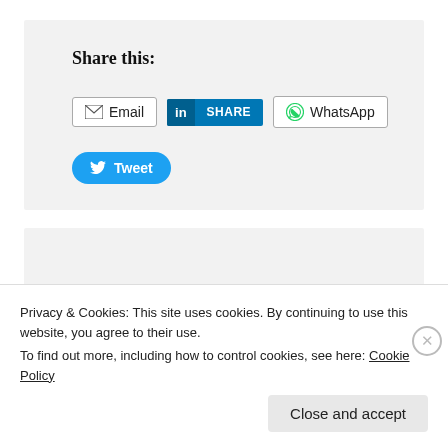Share this:
Email | SHARE | WhatsApp | Tweet
Loading...
Privacy & Cookies: This site uses cookies. By continuing to use this website, you agree to their use.
To find out more, including how to control cookies, see here: Cookie Policy
Close and accept